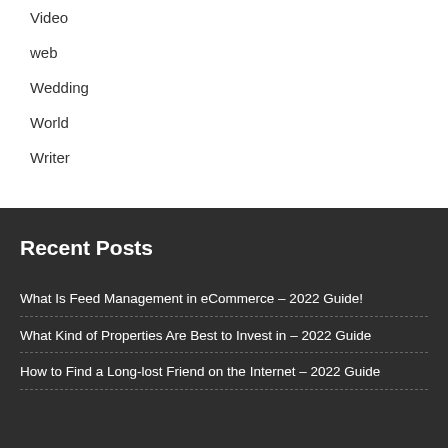Video
web
Wedding
World
Writer
Recent Posts
What Is Feed Management in eCommerce – 2022 Guide!
What Kind of Properties Are Best to Invest in – 2022 Guide
How to Find a Long-lost Friend on the Internet – 2022 Guide